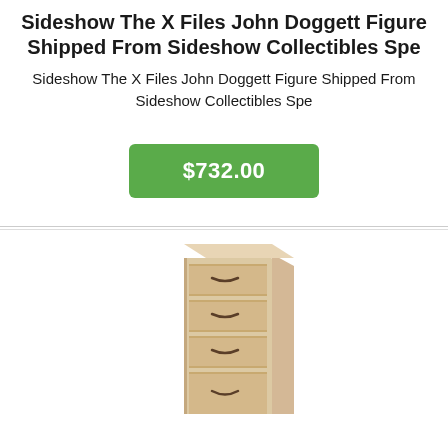Sideshow The X Files John Doggett Figure Shipped From Sideshow Collectibles Spe
Sideshow The X Files John Doggett Figure Shipped From Sideshow Collectibles Spe
[Figure (other): Green price button showing $732.00]
[Figure (photo): Photo of a light wood colored multi-drawer storage unit/cabinet with 4 drawers and curved handles]